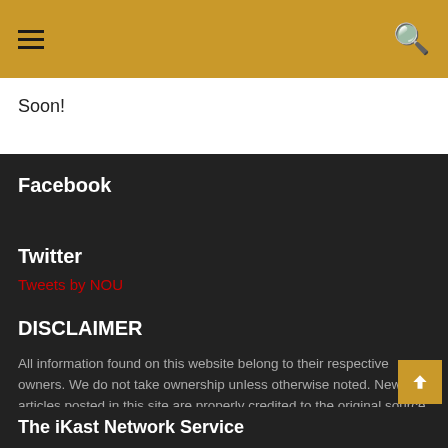Navigation header with hamburger menu and search icon
Soon!
Facebook
Twitter
Tweets by NOU
DISCLAIMER
All information found on this website belong to their respective owners. We do not take ownership unless otherwise noted. News articles posted in this site are properly credited to the original source, which can be found at the very bottom of the news article.
The iKast Network Service